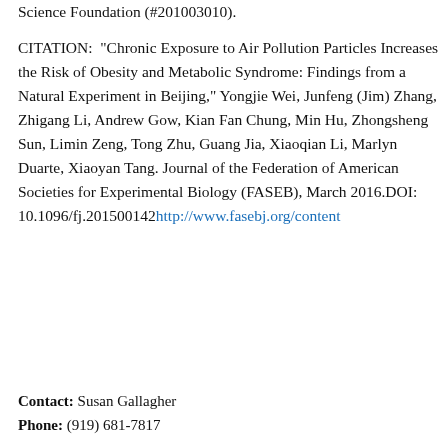Science Foundation (#201003010).
CITATION: "Chronic Exposure to Air Pollution Particles Increases the Risk of Obesity and Metabolic Syndrome: Findings from a Natural Experiment in Beijing," Yongjie Wei, Junfeng (Jim) Zhang, Zhigang Li, Andrew Gow, Kian Fan Chung, Min Hu, Zhongsheng Sun, Limin Zeng, Tong Zhu, Guang Jia, Xiaoqian Li, Marlyn Duarte, Xiaoyan Tang. Journal of the Federation of American Societies for Experimental Biology (FASEB), March 2016.DOI: 10.1096/fj.201500142http://www.fasebj.org/content
Contact: Susan Gallagher
Phone: (919) 681-7817